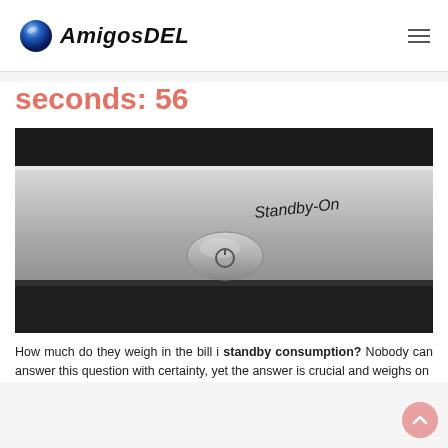AmigosDEL
seconds: 56
[Figure (photo): Close-up photo of a silver electronic device with a 'Standby-On' label and a round power button with a power symbol icon.]
How much do they weigh in the bill i standby consumption? Nobody can answer this question with certainty, yet the answer is crucial and weighs on